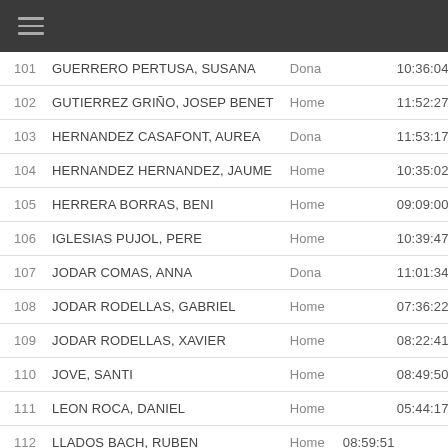| # | Name | Gender | Time |
| --- | --- | --- | --- |
| 101 | GUERRERO PERTUSA, SUSANA | Dona | 10:36:04 |
| 102 | GUTIERREZ GRIÑO, JOSEP BENET | Home | 11:52:27 |
| 103 | HERNANDEZ CASAFONT, AUREA | Dona | 11:53:17 |
| 104 | HERNANDEZ HERNANDEZ, JAUME | Home | 10:35:02 |
| 105 | HERRERA BORRAS, BENI | Home | 09:09:00 |
| 106 | IGLESIAS PUJOL, PERE | Home | 10:39:47 |
| 107 | JODAR COMAS, ANNA | Dona | 11:01:34 |
| 108 | JODAR RODELLAS, GABRIEL | Home | 07:36:22 |
| 109 | JODAR RODELLAS, XAVIER | Home | 08:22:41 |
| 110 | JOVE, SANTI | Home | 08:49:50 |
| 111 | LEON ROCA, DANIEL | Home | 05:44:17 |
| 112 | LLADOS BACH, RUBEN | Home | 08:59:51 |
| 113 | LLAMAS GARCIA, JOSE | Home | 04:54:14 |
| 114 | LLANAS BARO, MANEL | Home | 09:41:48 |